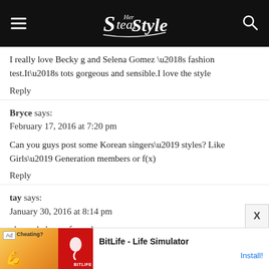Steal Her Style
I really love Becky g and Selena Gomez ’s fashion test.It’s tots gorgeous and sensible.I love the style
Reply
Bryce says:
February 17, 2016 at 7:20 pm
Can you guys post some Korean singers’ styles? Like Girls’ Generation members or f(x)
Reply
tay says:
January 30, 2016 at 8:14 pm
please do brynn from dance moms
[Figure (infographic): Advertisement banner for BitLife - Life Simulator app with orange background graphic and BitLife logo on left, text and Install button on right]